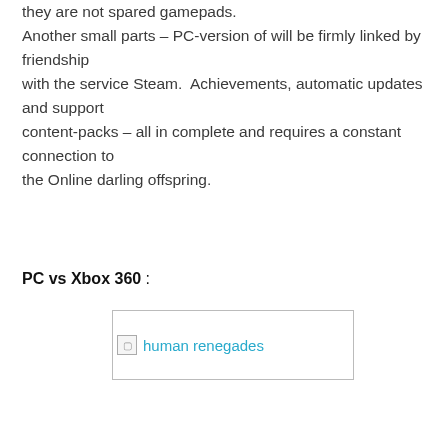they are not spared gamepads. Another small parts – PC-version of will be firmly linked by friendship with the service Steam.  Achievements, automatic updates and support content-packs – all in complete and requires a constant  connection to the Online darling offspring.
PC vs Xbox 360 :
[Figure (photo): Broken image placeholder with alt text 'human renegades' displayed as a link in cyan color]